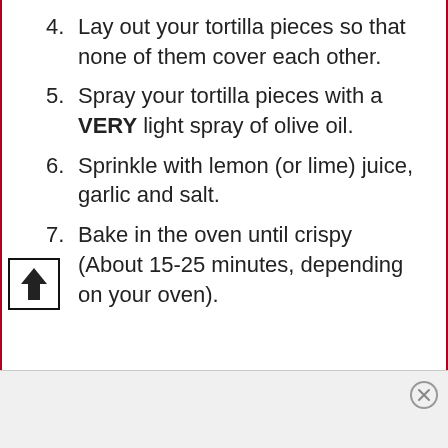4. Lay out your tortilla pieces so that none of them cover each other.
5. Spray your tortilla pieces with a VERY light spray of olive oil.
6. Sprinkle with lemon (or lime) juice, garlic and salt.
7. Bake in the oven until crispy (About 15-25 minutes, depending on your oven).